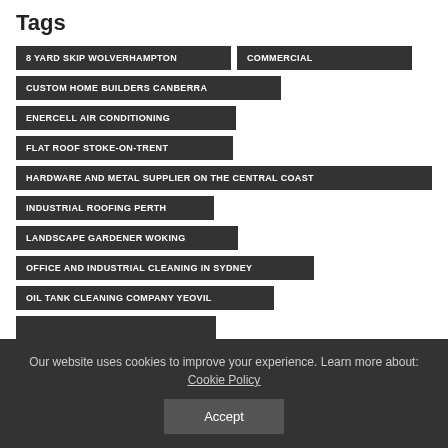Tags
8 YARD SKIP WOLVERHAMPTON
COMMERCIAL
CUSTOM HOME BUILDERS CANBERRA
ENERCELL AIR CONDITIONING
FLAT ROOF STOKE-ON-TRENT
HARDWARE AND METAL SUPPLIER ON THE CENTRAL COAST
INDUSTRIAL ROOFING PERTH
LANDSCAPE GARDENER WOKING
OFFICE AND INDUSTRIAL CLEANING IN SYDNEY
OIL TANK CLEANING COMPANY YEOVIL
Our website uses cookies to improve your experience. Learn more about: Cookie Policy
Accept